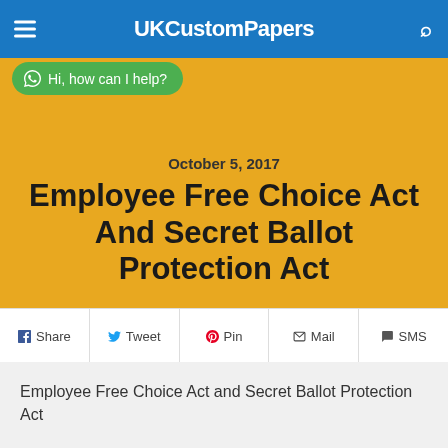UKCustomPapers
Hi, how can I help?
October 5, 2017
Employee Free Choice Act And Secret Ballot Protection Act
Share  Tweet  Pin  Mail  SMS
Employee Free Choice Act and Secret Ballot Protection Act